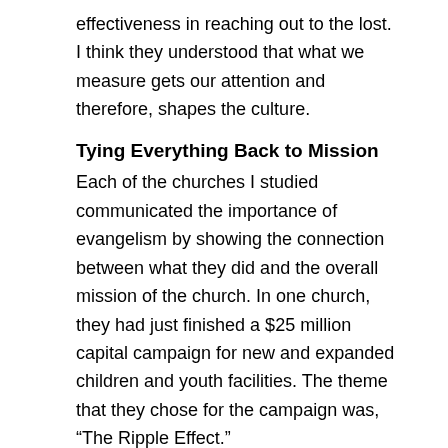effectiveness in reaching out to the lost. I think they understood that what we measure gets our attention and therefore, shapes the culture.
Tying Everything Back to Mission
Each of the churches I studied communicated the importance of evangelism by showing the connection between what they did and the overall mission of the church. In one church, they had just finished a $25 million capital campaign for new and expanded children and youth facilities. The theme that they chose for the campaign was, “The Ripple Effect.”
Every week leading up to pledge Sunday, the church played a video interview with someone who had come to faith at the church. Then, they showed how that person’s coming to faith was tied to the one who had brought this new believer to the church, as well as to others who were affected by this conversion. After